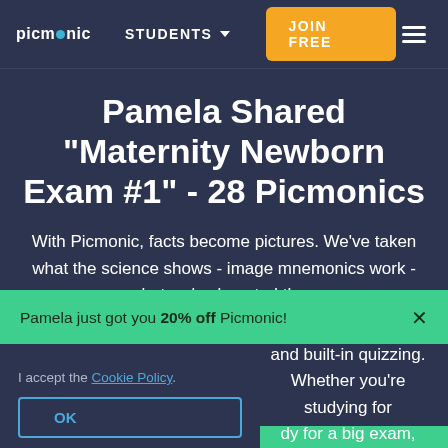picmonic  STUDENTS  JOIN FREE
Pamela Shared "Maternity Newborn Exam #1" - 28 Picmonics
With Picmonic, facts become pictures. We've taken what the science shows - image mnemonics work - but we've boosted the
Pamela just got you 20% off Picmonic!
and built-in quizzing. Whether you're studying for
dy for a big exam,
help.
I accept the Cookie Policy.
OK